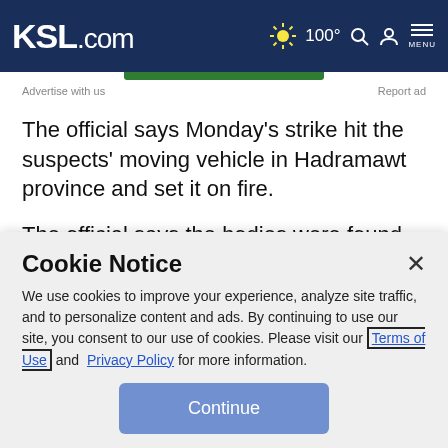KSL.com — 100° Search Account Menu
Advertise with us    Report ad
The official says Monday's strike hit the suspects' moving vehicle in Hadramawt province and set it on fire.
The official says the bodies were found charred inside the vehicle and the suspects' identification wasn't possible. The official spoke on condition of anonymity because he wasn't authorized to speak to media.
Cookie Notice
We use cookies to improve your experience, analyze site traffic, and to personalize content and ads. By continuing to use our site, you consent to our use of cookies. Please visit our Terms of Use and Privacy Policy for more information.
Continue